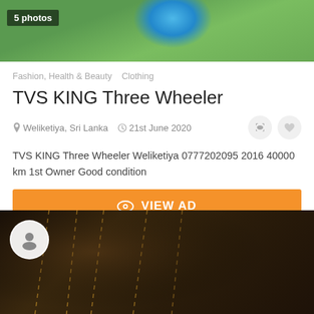[Figure (photo): Top portion of a product photo showing a blue ball on green grass, with '5 photos' badge overlay]
Fashion, Health & Beauty   Clothing
TVS KING Three Wheeler
Weliketiya, Sri Lanka   21st June 2020
TVS KING Three Wheeler Weliketiya 0777202095 2016 40000 km 1st Owner Good condition
VIEW AD
[Figure (photo): Close-up photo of dark brown leather with orange/golden stitching lines, with a circular user avatar icon in top-left corner]